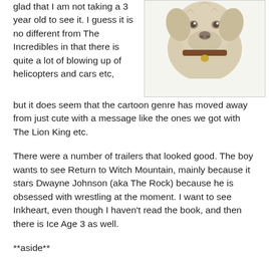glad that I am not taking a 3 year old to see it. I guess it is no different from The Incredibles in that there is quite a lot of blowing up of helicopters and cars etc, but it does seem that the cartoon genre has moved away from just cute with a message like the ones we got with The Lion King etc.
[Figure (photo): Photo of a light-colored dog (possibly a Labrador) wearing a brown collar, shown from the neck/head area against a white background, inside a bordered frame.]
There were a number of trailers that looked good. The boy wants to see Return to Witch Mountain, mainly because it stars Dwayne Johnson (aka The Rock) because he is obsessed with wrestling at the moment. I want to see Inkheart, even though I haven't read the book, and then there is Ice Age 3 as well.
**aside**
I was looking for a picture to put with this post and I ended up on IMDB, where I was reading through the goofs, and something that someone has added is this 'error':